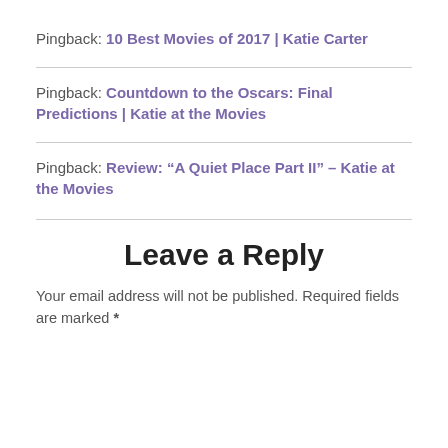Pingback: 10 Best Movies of 2017 | Katie Carter
Pingback: Countdown to the Oscars: Final Predictions | Katie at the Movies
Pingback: Review: “A Quiet Place Part II” – Katie at the Movies
Leave a Reply
Your email address will not be published. Required fields are marked *